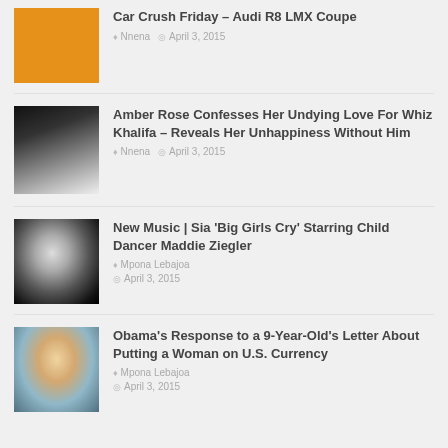[Figure (photo): Orange/amber color block thumbnail]
Car Crush Friday – Audi R8 LMX Coupe
Nnena  April 3, 2015
[Figure (photo): Black and white photo of couple, woman and man in tuxedo]
Amber Rose Confesses Her Undying Love For Whiz Khalifa – Reveals Her Unhappiness Without Him
Nnena  April 3, 2015
[Figure (photo): Black background photo of blonde child dancer]
New Music | Sia 'Big Girls Cry' Starring Child Dancer Maddie Ziegler
Mpona Lebajoa  April 3, 2015
[Figure (photo): Young girl smiling with pink headband]
Obama's Response to a 9-Year-Old's Letter About Putting a Woman on U.S. Currency
Mpona Lebajoa  April 3, 2015